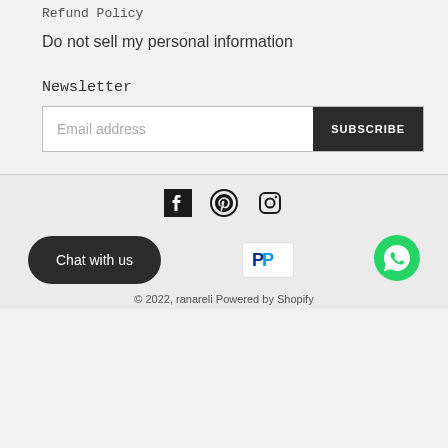Refund Policy
Do not sell my personal information
Newsletter
Email address
SUBSCRIBE
[Figure (illustration): Social media icons: Facebook, Pinterest, Instagram]
Chat with us
[Figure (logo): PayPal payment badge]
[Figure (logo): WhatsApp chat icon]
© 2022, ranareli Powered by Shopify